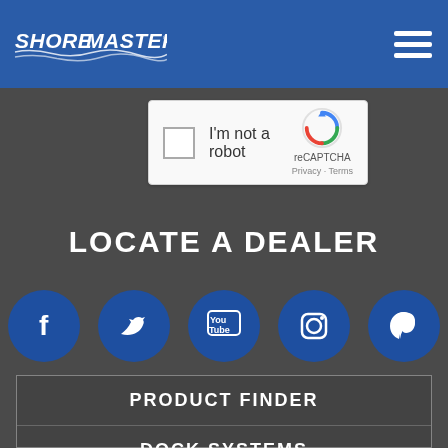ShoreMaster
[Figure (screenshot): reCAPTCHA widget with checkbox 'I'm not a robot', reCAPTCHA logo, Privacy and Terms links]
LOCATE A DEALER
[Figure (infographic): Row of 5 social media icon circles: Facebook, Twitter, YouTube, Instagram, Pinterest]
PRODUCT FINDER
DOCK SYSTEMS